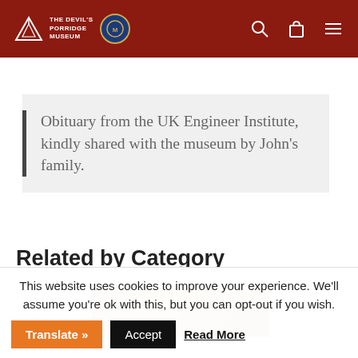[Figure (logo): The Devil's Porridge Museum logo with triangle/mountain icon and blue circular badge, on dark red header bar with search, bag, and menu icons]
Obituary from the UK Engineer Institute, kindly shared with the museum by John's family.
Related by Category
[Figure (photo): Partial thumbnail image showing a golden/brown toned photograph]
This website uses cookies to improve your experience. We'll assume you're ok with this, but you can opt-out if you wish.
Translate »   Accept   Read More